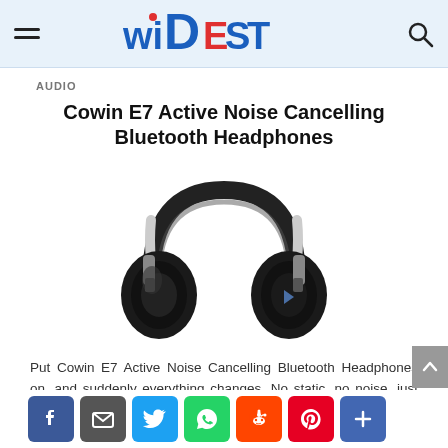WIDEST
AUDIO
Cowin E7 Active Noise Cancelling Bluetooth Headphones
[Figure (photo): Black Cowin E7 Active Noise Cancelling Bluetooth over-ear headphones on white background]
Put Cowin E7 Active Noise Cancelling Bluetooth Headphones on, and suddenly everything changes. No static, no noise, just you and your music — or simply peace and quiet. Your ...